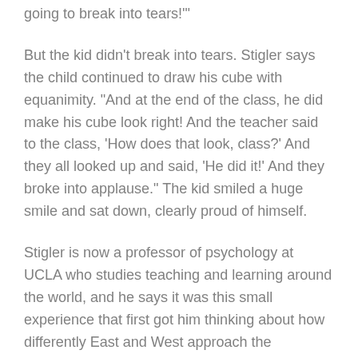going to break into tears!'"
But the kid didn't break into tears. Stigler says the child continued to draw his cube with equanimity. "And at the end of the class, he did make his cube look right! And the teacher said to the class, 'How does that look, class?' And they all looked up and said, 'He did it!' And they broke into applause." The kid smiled a huge smile and sat down, clearly proud of himself.
Stigler is now a professor of psychology at UCLA who studies teaching and learning around the world, and he says it was this small experience that first got him thinking about how differently East and West approach the experience of intellectual struggle.
"I think that from very early ages we [in